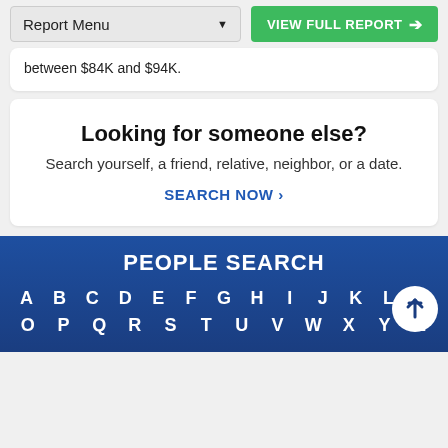Report Menu | VIEW FULL REPORT
between $84K and $94K.
Looking for someone else?
Search yourself, a friend, relative, neighbor, or a date.
SEARCH NOW >
PEOPLE SEARCH
A B C D E F G H I J K L M
O P Q R S T U V W X Y Z